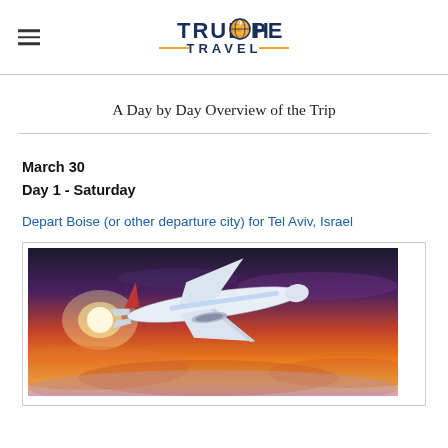TRUE HOPE TRAVEL
A Day by Day Overview of the Trip
March 30
Day 1 - Saturday
Depart Boise (or other departure city) for Tel Aviv, Israel
[Figure (photo): Airplane flying above clouds at sunset with orange and purple sky]